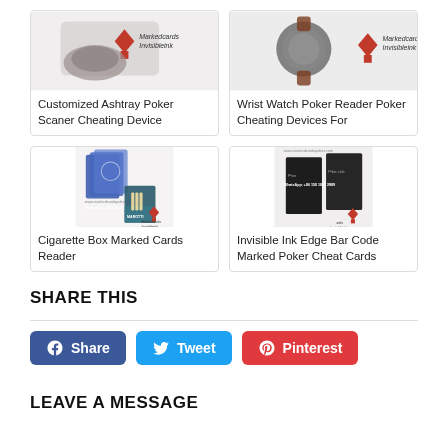[Figure (photo): Product card image: Customized Ashtray Poker Scaner Cheating Device with Markedcards Invisibleink logo]
Customized Ashtray Poker Scaner Cheating Device
[Figure (photo): Product card image: Wrist Watch Poker Reader Poker Cheating Devices For with Markedcards Invisibleink logo]
Wrist Watch Poker Reader Poker Cheating Devices For
[Figure (photo): Product card image: Cigarette Box Marked Cards Reader with Markedcards Invisibleink branding and WhatsApp contact]
Cigarette Box Marked Cards Reader
[Figure (photo): Product card image: Invisible Ink Edge Bar Code Marked Poker Cheat Cards with Markedcards Invisibleink branding and WhatsApp contact]
Invisible Ink Edge Bar Code Marked Poker Cheat Cards
SHARE THIS
[Figure (infographic): Three social share buttons: Facebook Share (blue), Twitter Tweet (light blue), Pinterest (red)]
LEAVE A MESSAGE